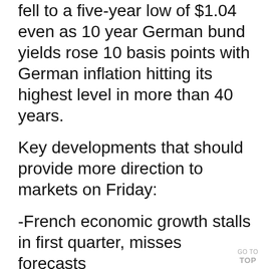fell to a five-year low of $1.04 even as 10 year German bund yields rose 10 basis points with German inflation hitting its highest level in more than 40 years.
Key developments that should provide more direction to markets on Friday:
-French economic growth stalls in first quarter, misses forecasts
-BASF confirms earnings guidance but flags risks
-Danske Bank Q1 net profit below expectations
GO TO TOP